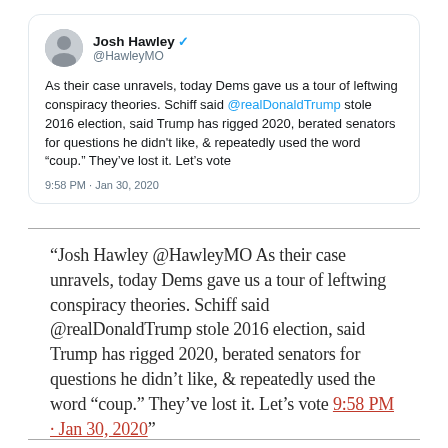[Figure (screenshot): Screenshot of a tweet by Josh Hawley (@HawleyMO) saying: As their case unravels, today Dems gave us a tour of leftwing conspiracy theories. Schiff said @realDonaldTrump stole 2016 election, said Trump has rigged 2020, berated senators for questions he didn't like, & repeatedly used the word "coup." They've lost it. Let's vote. Timestamp: 9:58 PM · Jan 30, 2020]
"Josh Hawley @HawleyMO As their case unravels, today Dems gave us a tour of leftwing conspiracy theories. Schiff said @realDonaldTrump stole 2016 election, said Trump has rigged 2020, berated senators for questions he didn't like, & repeatedly used the word "coup." They've lost it. Let's vote 9:58 PM · Jan 30, 2020"